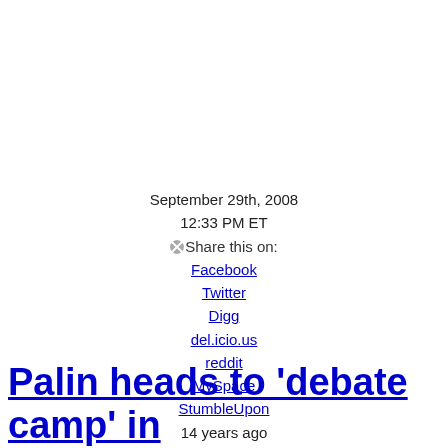September 29th, 2008
12:33 PM ET
Share this on:
Facebook
Twitter
Digg
del.icio.us
reddit
MySpace
StumbleUpon
14 years ago
Palin heads to 'debate camp' in